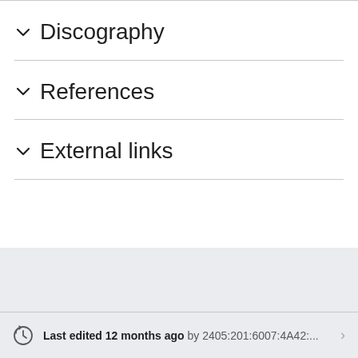Discography
References
External links
Last edited 12 months ago by 2405:201:6007:4A42:...